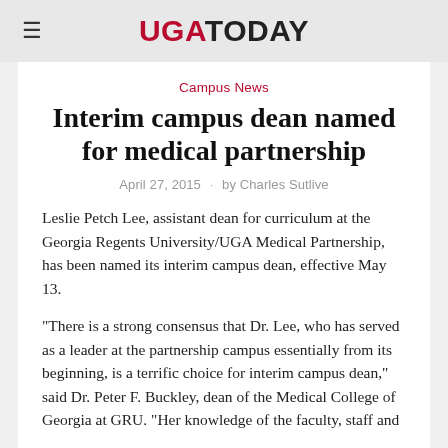UGA TODAY
Campus News
Interim campus dean named for medical partnership
April 27, 2015 · by Charles Sutlive
Leslie Petch Lee, assistant dean for curriculum at the Georgia Regents University/UGA Medical Partnership, has been named its interim campus dean, effective May 13.
“There is a strong consensus that Dr. Lee, who has served as a leader at the partnership campus essentially from its beginning, is a terrific choice for interim campus dean,” said Dr. Peter F. Buckley, dean of the Medical College of Georgia at GRU. “Her knowledge of the faculty, staff and